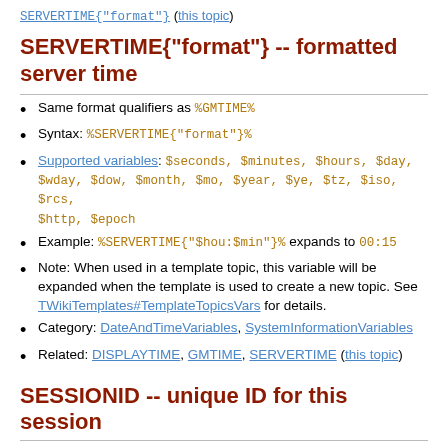SERVERTIME{"format"} (this topic)
SERVERTIME{"format"} -- formatted server time
Same format qualifiers as %GMTIME%
Syntax: %SERVERTIME{"format"}%
Supported variables: $seconds, $minutes, $hours, $day, $wday, $dow, $month, $mo, $year, $ye, $tz, $iso, $rcs, $http, $epoch
Example: %SERVERTIME{"$hou:$min"}% expands to 00:15
Note: When used in a template topic, this variable will be expanded when the template is used to create a new topic. See TWikiTemplates#TemplateTopicsVars for details.
Category: DateAndTimeVariables, SystemInformationVariables
Related: DISPLAYTIME, GMTIME, SERVERTIME (this topic)
SESSIONID -- unique ID for this session